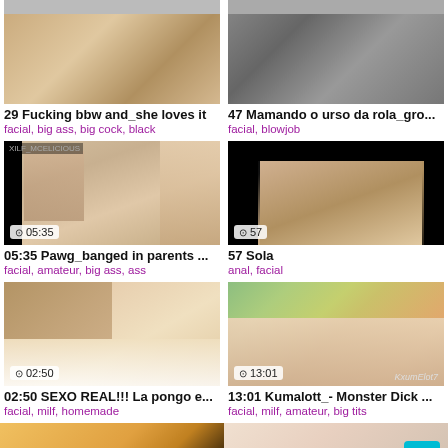[Figure (screenshot): Video thumbnail grid showing adult content listings with thumbnails, durations, titles and tags]
29 Fucking bbw and_she loves it
facial, big ass, big cock, black
47 Mamando o urso da rola_gro...
facial, blowjob
05:35 Pawg_banged in parents ...
facial, amateur, big ass, ass
57 Sola
anal, facial
02:50 SEXO REAL!!! La pongo e...
facial, milf, homemade
13:01 Kumalott_- Monster Dick ...
facial, milf, amateur, big tits